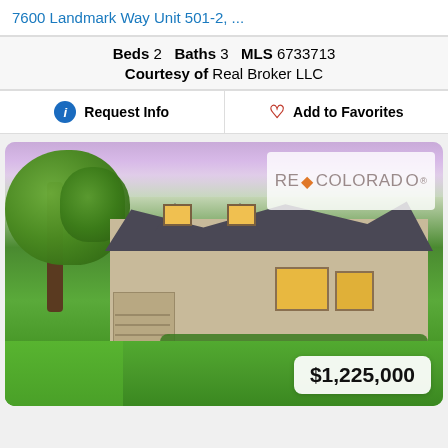7600 Landmark Way Unit 501-2, ...
Beds 2   Baths 3   MLS 6733713
Courtesy of Real Broker LLC
Request Info
Add to Favorites
[Figure (photo): Exterior photo of a two-story residential home with large tree, lush green lawn, brick facade, and illuminated windows at dusk. REColorado watermark in upper right. Price badge showing $1,225,000 in lower right.]